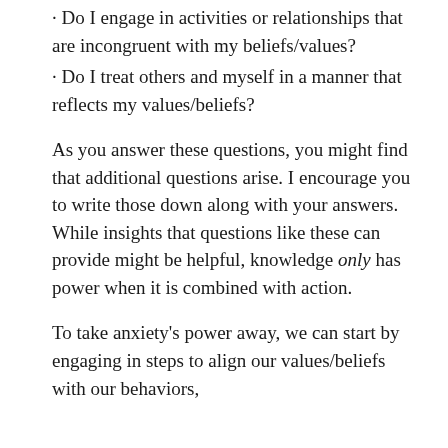· Do I engage in activities or relationships that are incongruent with my beliefs/values?
· Do I treat others and myself in a manner that reflects my values/beliefs?
As you answer these questions, you might find that additional questions arise. I encourage you to write those down along with your answers. While insights that questions like these can provide might be helpful, knowledge only has power when it is combined with action.
To take anxiety's power away, we can start by engaging in steps to align our values/beliefs with our behaviors,